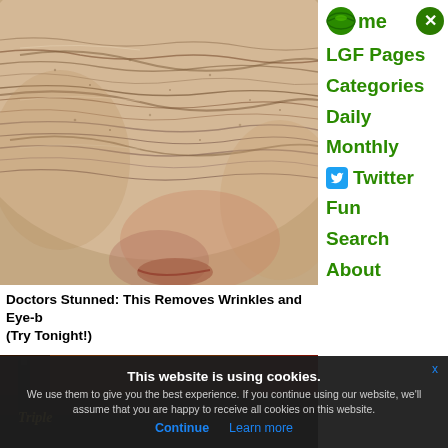[Figure (photo): Close-up photo of an elderly person's face showing deep wrinkles on cheek and chin area, with an aged skin texture]
Doctors Stunned: This Removes Wrinkles and Eye-b (Try Tonight!)
[Figure (photo): Partial photo of a dark background with what appears to be Triple-branded products and bar items]
Home
LGF Pages
Categories
Daily
Monthly
Twitter
Fun
Search
About
This website is using cookies.
We use them to give you the best experience. If you continue using our website, we'll assume that you are happy to receive all cookies on this website.
Continue   Learn more